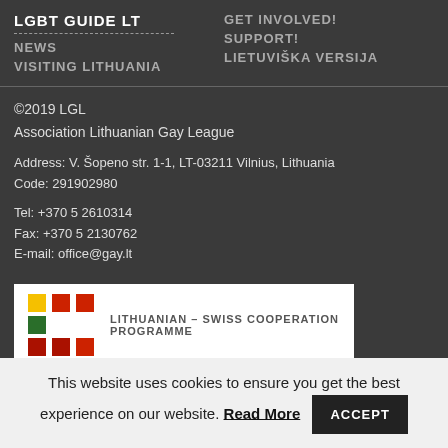LGBT GUIDE LT | NEWS | VISITING LITHUANIA | GET INVOLVED! | SUPPORT! | LIETUVIŠKA VERSIJA
©2019 LGL
Association Lithuanian Gay League

Address: V. Šopeno str. 1-1, LT-03211 Vilnius, Lithuania
Code: 291902980

Tel: +370 5 2610314
Fax: +370 5 2130762
E-mail: office@gay.lt
[Figure (logo): Lithuanian - Swiss Cooperation Programme logo with colored squares grid and text]
This website uses cookies to ensure you get the best experience on our website. Read More ACCEPT